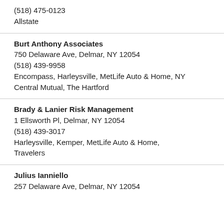(518) 475-0123
Allstate
Burt Anthony Associates
750 Delaware Ave, Delmar, NY 12054
(518) 439-9958
Encompass, Harleysville, MetLife Auto & Home, NY Central Mutual, The Hartford
Brady & Lanier Risk Management
1 Ellsworth Pl, Delmar, NY 12054
(518) 439-3017
Harleysville, Kemper, MetLife Auto & Home, Travelers
Julius Ianniello
257 Delaware Ave, Delmar, NY 12054